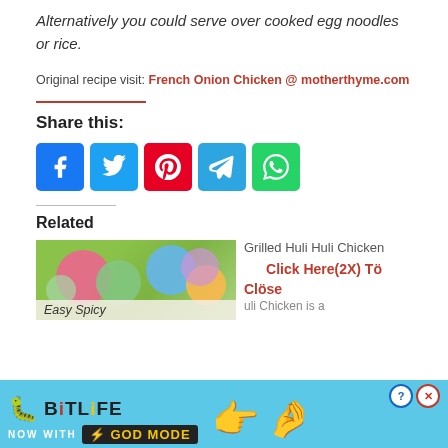Alternatively you could serve over cooked egg noodles or rice.
Original recipe visit: French Onion Chicken @ motherthyme.com
Share this:
[Figure (infographic): Social sharing icons: Facebook (blue), Twitter (light blue), Pinterest (red), Telegram (blue), WhatsApp (green)]
Related
[Figure (photo): Related article thumbnail showing food/colorful items with caption 'Easy Spicy']
Grilled Huli Huli Chicken
Click Here(2X) Tö
Clöse
uli Chicken is a
[Figure (infographic): BitLife advertisement banner: 'BitLife NOW WITH GOD MODE' with sperm icon, lightning bolt, pointing hand emoji, question mark and X close buttons]